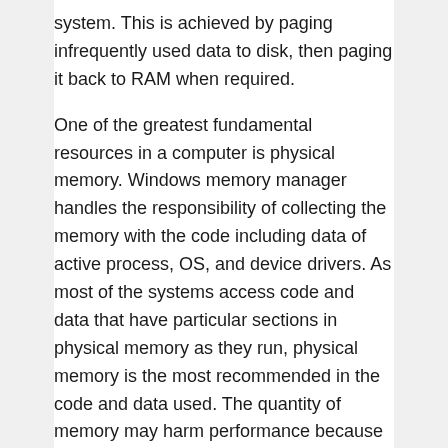system. This is achieved by paging infrequently used data to disk, then paging it back to RAM when required.
One of the greatest fundamental resources in a computer is physical memory. Windows memory manager handles the responsibility of collecting the memory with the code including data of active process, OS, and device drivers. As most of the systems access code and data that have particular sections in physical memory as they run, physical memory is the most recommended in the code and data used. The quantity of memory may harm performance because during the time data or code starts to operate the OS is not active, the memory